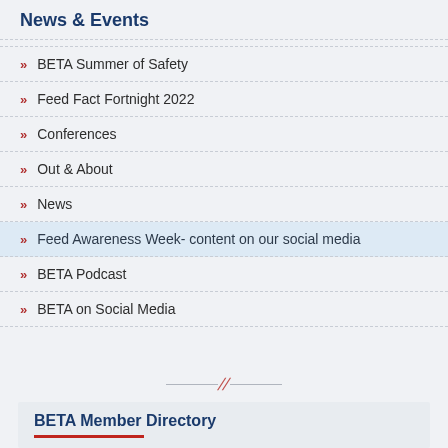News & Events
BETA Summer of Safety
Feed Fact Fortnight 2022
Conferences
Out & About
News
Feed Awareness Week- content on our social media
BETA Podcast
BETA on Social Media
BETA Member Directory